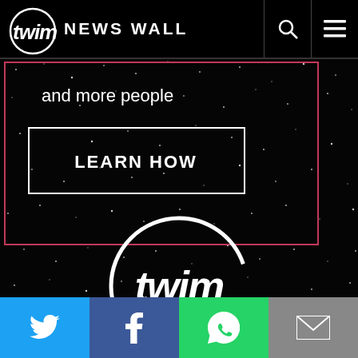twim NEWS WALL
and more people
LEARN HOW
[Figure (logo): Twim circular logo in white on dark starfield background]
[Figure (infographic): Social share bar with Twitter, Facebook, WhatsApp, and Email buttons]